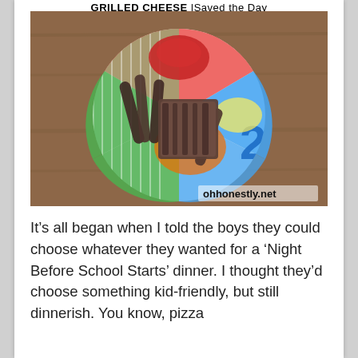GRILLED CHEESE Saved the Day
[Figure (photo): A colorful children's plate with a grilled cheese sandwich and sausage strips, with ketchup on top, photographed from above on a wooden table. Watermark reads ohhonestly.net]
It’s all began when I told the boys they could choose whatever they wanted for a ‘Night Before School Starts’ dinner. I thought they’d choose something kid-friendly, but still dinnerish. You know, pizza